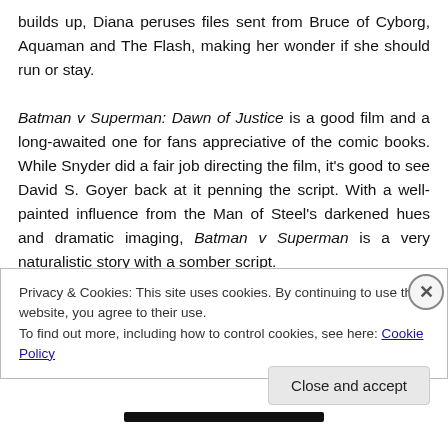builds up, Diana peruses files sent from Bruce of Cyborg, Aquaman and The Flash, making her wonder if she should run or stay.

Batman v Superman: Dawn of Justice is a good film and a long-awaited one for fans appreciative of the comic books. While Snyder did a fair job directing the film, it's good to see David S. Goyer back at it penning the script. With a well-painted influence from the Man of Steel's darkened hues and dramatic imaging, Batman v Superman is a very naturalistic story with a somber script.
Privacy & Cookies: This site uses cookies. By continuing to use this website, you agree to their use.
To find out more, including how to control cookies, see here: Cookie Policy
Close and accept